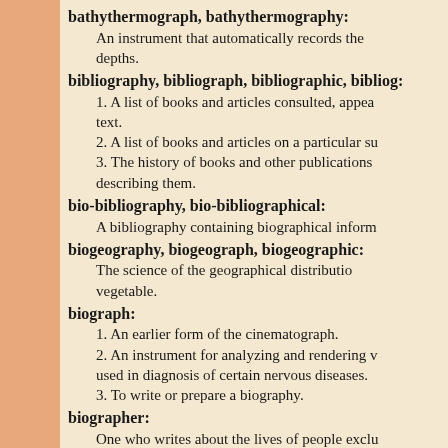bathythermograph, bathythermography: An instrument that automatically records the depths.
bibliography, bibliograph, bibliographic, bibliog: 1. A list of books and articles consulted, appea text. 2. A list of books and articles on a particular su 3. The history of books and other publications describing them.
bio-bibliography, bio-bibliographical: A bibliography containing biographical inform
biogeography, biogeograph, biogeographic: The science of the geographical distributio vegetable.
biograph: 1. An earlier form of the cinematograph. 2. An instrument for analyzing and rendering v used in diagnosis of certain nervous diseases. 3. To write or prepare a biography.
biographer: One who writes about the lives of people exclu